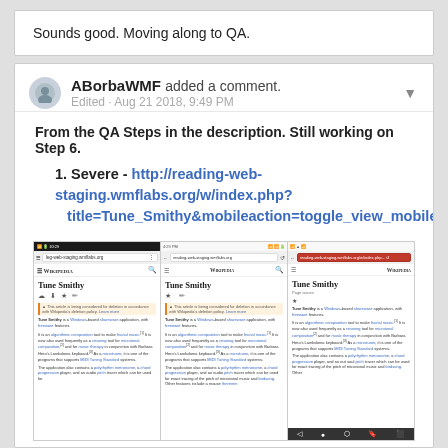Sounds good. Moving along to QA.
ABorbaWMF added a comment. Edited · Aug 21 2018, 9:49 PM
From the QA Steps in the description. Still working on Step 6.
1. Severe - http://reading-web-staging.wmflabs.org/w/index.php?title=Tune_Smithy&mobileaction=toggle_view_mobile
[Figure (screenshot): Three mobile browser screenshots showing the Tune Smithy Wikipedia page in different states: normal view, standard mobile view, and a view with red URL bar indicating an error.]